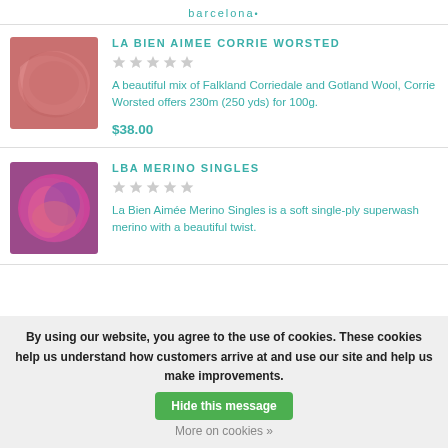barcelo
LA BIEN AIMEE CORRIE WORSTED
A beautiful mix of Falkland Corriedale and Gotland Wool, Corrie Worsted offers 230m (250 yds) for 100g.
$38.00
LBA MERINO SINGLES
La Bien Aimée Merino Singles is a soft single-ply superwash merino with a beautiful twist.
By using our website, you agree to the use of cookies. These cookies help us understand how customers arrive at and use our site and help us make improvements.
Hide this message
More on cookies »